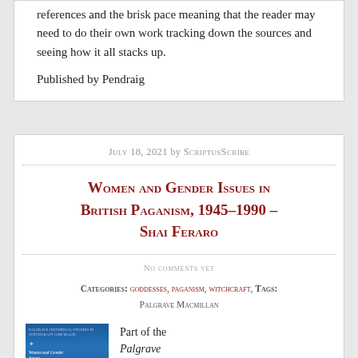references and the brisk pace meaning that the reader may need to do their own work tracking down the sources and seeing how it all stacks up.
Published by Pendraig
July 18, 2021 by ScriptusScribe
Women and Gender Issues in British Paganism, 1945–1990 – Shai Feraro
No comments yet
Categories: goddesses, paganism, witchcraft, Tags: Palgrave Macmillan
Part of the Palgrave